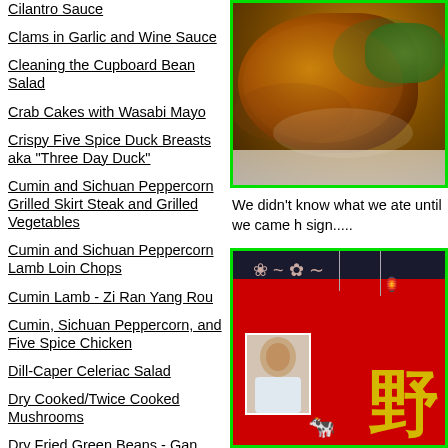Cilantro Sauce
Clams in Garlic and Wine Sauce
Cleaning the Cupboard Bean Salad
Crab Cakes with Wasabi Mayo
Crispy Five Spice Duck Breasts aka "Three Day Duck"
Cumin and Sichuan Peppercorn Grilled Skirt Steak and Grilled Vegetables
Cumin and Sichuan Peppercorn Lamb Loin Chops
Cumin Lamb - Zi Ran Yang Rou
Cumin, Sichuan Peppercorn, and Five Spice Chicken
Dill-Caper Celeriac Salad
Dry Cooked/Twice Cooked Mushrooms
Dry Fried Green Beans - Gan Bian Si Ji Dou
Duck Confit
Duck Fat
[Figure (photo): Close-up photo of glazed stir-fried meat with green peppers on a white plate, with green border frame]
We didn't know what we ate until we came h sign.....
[Figure (photo): Red restaurant sign with Chinese character (野), a man's portrait photo, decorative floral patterns, a lantern, and an animal figure at bottom. Dark awning at top with wires visible.]